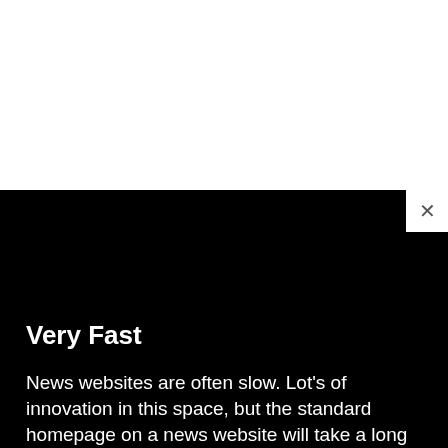[Figure (screenshot): White area at the top representing the upper portion of a webpage screenshot]
Very Fast
News websites are often slow. Lot's of innovation in this space, but the standard homepage on a news website will take a long time to load. This site loads in under 0.2 seconds, on a fast connection, and should load very fast even on a slow mobile connection. Running WordPress